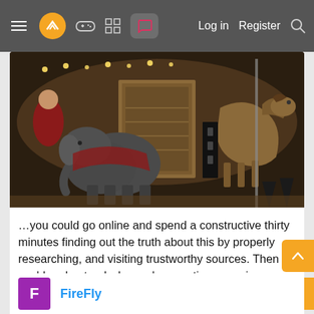≡ [logo] [gamepad] [grid] [chat] Log in  Register  [search]
[Figure (photo): Dark photograph of carousel animals including an elephant figure on a merry-go-round with lights in the background]
…you could go online and spend a constructive thirty minutes finding out the truth about this by properly researching, and visiting trustworthy sources. Then you'd understand why you're spouting conspiracy theory nonsense.
You probably won't though, eh?
Last edited: Jan 9
FireFly